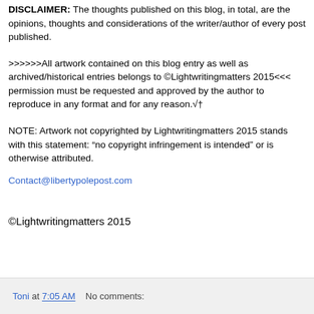DISCLAIMER: The thoughts published on this blog, in total, are the opinions, thoughts and considerations of the writer/author of every post published.
>>>>>>All artwork contained on this blog entry as well as archived/historical entries belongs to ©Lightwritingmatters 2015<<< permission must be requested and approved by the author to reproduce in any format and for any reason.√†
NOTE: Artwork not copyrighted by Lightwritingmatters 2015 stands with this statement: "no copyright infringement is intended" or is otherwise attributed.
Contact@libertypolepost.com
©Lightwritingmatters 2015
Toni at 7:05 AM    No comments: